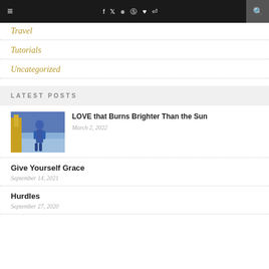Navigation bar with menu icon, social icons (f, twitter, instagram, pinterest, heart, rss), and search
Travel
Tutorials
Uncategorized
LATEST POSTS
[Figure (photo): Woman in blue athletic outfit standing outdoors near water]
LOVE that Burns Brighter Than the Sun
March 2, 2022
Give Yourself Grace
September 14, 2021
Hurdles
September 27, 2020